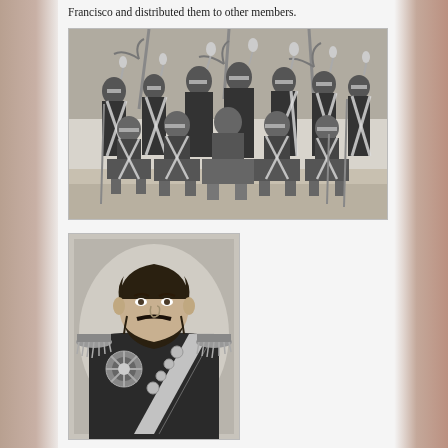Francisco and distributed them to other members.
[Figure (photo): Black and white group photograph of approximately 11 men in military or ceremonial uniforms with plumed helmets, white cross-body sashes, and holding rifles or staffs. They are posed in two rows against a painted tropical backdrop with palm trees.]
[Figure (photo): Black and white portrait photograph of a man with a beard wearing an ornate military or ceremonial uniform with a diagonal sash bearing medals and decorations.]